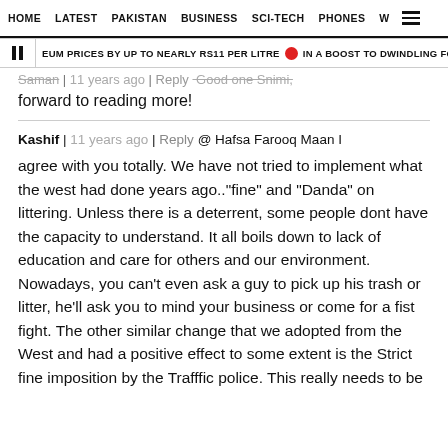HOME   LATEST   PAKISTAN   BUSINESS   SCI-TECH   PHONES   W ☰
❚❚ EUM PRICES BY UP TO NEARLY RS11 PER LITRE 🔴 IN A BOOST TO DWINDLING FORE
Saman | 11 years ago | Reply  Good one Snimi, look forward to reading more!
Kashif | 11 years ago | Reply  @ Hafsa Farooq Maan I agree with you totally. We have not tried to implement what the west had done years ago.."fine" and "Danda" on littering. Unless there is a deterrent, some people dont have the capacity to understand. It all boils down to lack of education and care for others and our environment. Nowadays, you can't even ask a guy to pick up his trash or litter, he'll ask you to mind your business or come for a fist fight. The other similar change that we adopted from the West and had a positive effect to some extent is the Strict fine imposition by the Trafffic police. This really needs to be